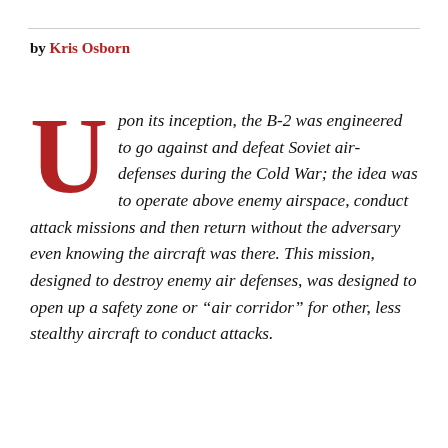by Kris Osborn
Upon its inception, the B-2 was engineered to go against and defeat Soviet air-defenses during the Cold War; the idea was to operate above enemy airspace, conduct attack missions and then return without the adversary even knowing the aircraft was there. This mission, designed to destroy enemy air defenses, was designed to open up a safety zone or “air corridor” for other, less stealthy aircraft to conduct attacks.